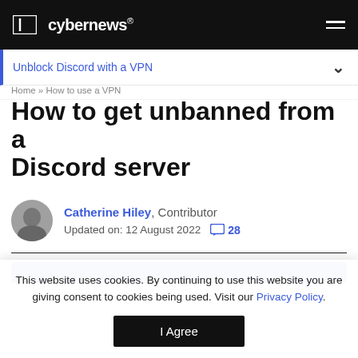cybernews®
Unblock Discord with a VPN
Home » How to use a VPN
How to get unbanned from a Discord server
Catherine Hiley, Contributor
Updated on: 12 August 2022  💬 28
[Figure (other): Partial blue banner image at bottom of article]
This website uses cookies. By continuing to use this website you are giving consent to cookies being used. Visit our Privacy Policy.
I Agree